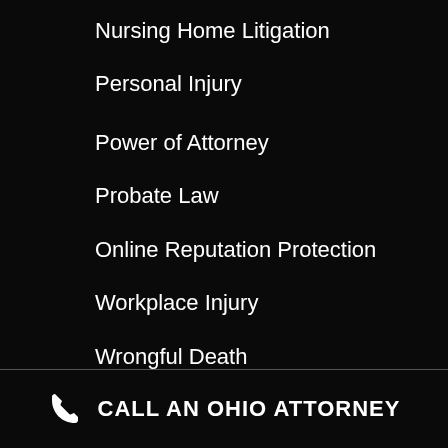Nursing Home Litigation
Personal Injury
Power of Attorney
Probate Law
Online Reputation Protection
Workplace Injury
Wrongful Death
CALL AN OHIO ATTORNEY